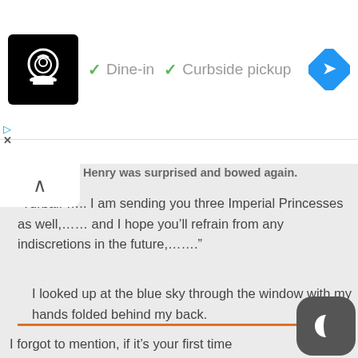[Figure (screenshot): Advertisement banner showing a restaurant logo (chef icon on black background), checkmarks for 'Dine-in' and 'Curbside pickup', and a blue diamond navigation icon]
Henry was surprised and bowed again.
“Turbaif ….. I am sending you three Imperial Princesses as well,…… and I hope you’ll refrain from any indiscretions in the future,…….”
I looked up at the blue sky through the window with my hands folded behind my back.
I forgot to mention, if it’s your first time commenting on this site, it may not appear right away cause I need to personally approve the first